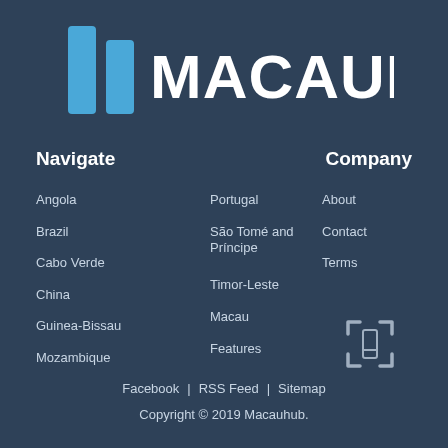[Figure (logo): Macauhub logo with two blue vertical bar shapes on the left and white text 'MACAUHUB' on the right]
Navigate
Company
Angola
Brazil
Cabo Verde
China
Guinea-Bissau
Mozambique
Portugal
São Tomé and Príncipe
Timor-Leste
Macau
Features
About
Contact
Terms
[Figure (other): Mobile phone / QR code scan icon outline]
Facebook | RSS Feed | Sitemap
Copyright © 2019 Macauhub.